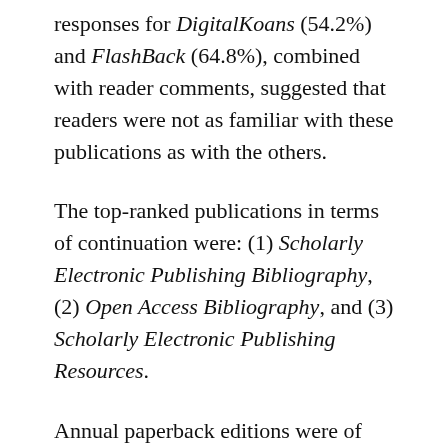responses for DigitalKoans (54.2%) and FlashBack (64.8%), combined with reader comments, suggested that readers were not as familiar with these publications as with the others.
The top-ranked publications in terms of continuation were: (1) Scholarly Electronic Publishing Bibliography, (2) Open Access Bibliography, and (3) Scholarly Electronic Publishing Resources.
Annual paperback editions were of interest to 33.5% of respondents (both "agree" categories) for the Scholarly Electronic Publishing Bibliography and the 30.1% of respondents for the Open Access Bibliography